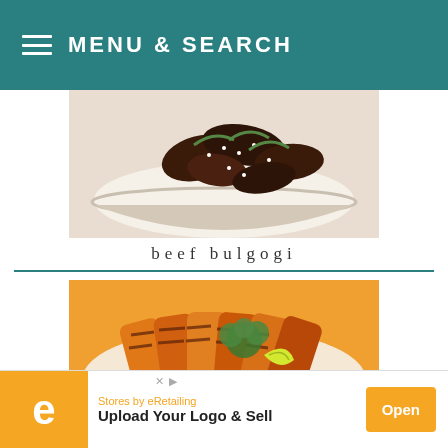MENU & SEARCH
[Figure (photo): Photo of beef bulgogi served on white rice in a bowl, topped with sesame seeds and green onions]
beef bulgogi
[Figure (photo): Photo of grilled sweet potatoes with char marks, garnished with cilantro and a lime wedge on a plate]
grilled sweet potatoes
[Figure (infographic): Advertisement banner: eRetailing - Upload Your Logo & Sell - Open button]